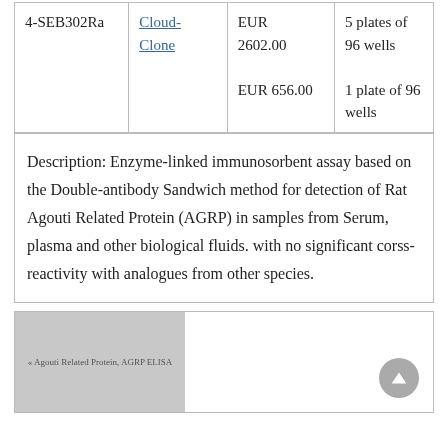| 4-SEB302Ra | Cloud-Clone | EUR 2602.00
EUR 656.00 | 5 plates of 96 wells
1 plate of 96 wells |
Description: Enzyme-linked immunosorbent assay based on the Double-antibody Sandwich method for detection of Rat Agouti Related Protein (AGRP) in samples from Serum, plasma and other biological fluids. with no significant corss-reactivity with analogues from other species.
[Figure (photo): Thumbnail image of Agouti Related Protein AGRP ELISA kit, shown as a gray placeholder image with small text label.]